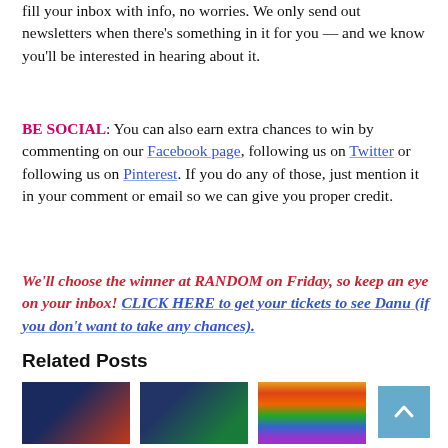fill your inbox with info, no worries. We only send out newsletters when there's something in it for you — and we know you'll be interested in hearing about it.
BE SOCIAL: You can also earn extra chances to win by commenting on our Facebook page, following us on Twitter or following us on Pinterest. If you do any of those, just mention it in your comment or email so we can give you proper credit.
We'll choose the winner at RANDOM on Friday, so keep an eye on your inbox! CLICK HERE to get your tickets to see Danu (if you don't want to take any chances).
Related Posts
[Figure (photo): Thumbnail image of a stage performance with performers]
[Figure (photo): Thumbnail image of a performer on stage]
[Figure (photo): Thumbnail image with colorful rainbow stripes]